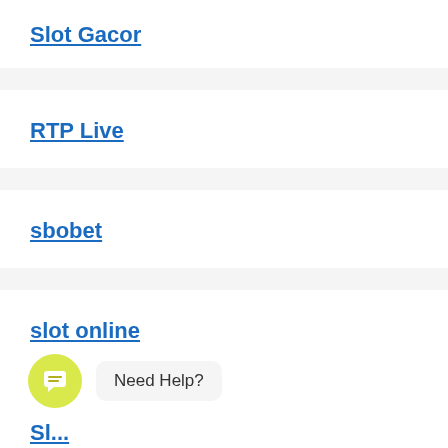Slot Gacor
RTP Live
sbobet
slot online
[Figure (other): Chat widget with yellow circular icon containing a chat bubble symbol and 'Need Help?' tooltip]
Sl...